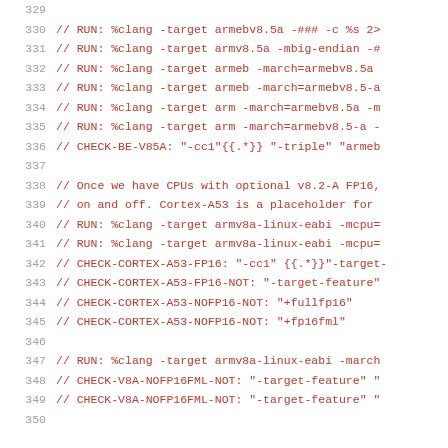[Figure (screenshot): Source code listing showing lines 329-350 of a C/clang test file with RUN and CHECK directives for ARM architecture targets. Line numbers in gray on the left, code in dark red monospace font on the right.]